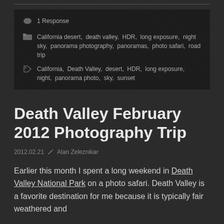1 Response
California desert, death valley, HDR, long exposure, night sky, panorama photography, panoramas, photo safari, road trip
California, Death Valley, desert, HDR, long exposure, night, panorama photo, sky, sunset
Death Valley February 2012 Photography Trip
2012.02.21  Alan Zeleznikar
Earlier this month I spent a long weekend in Death Valley National Park on a photo safari. Death Valley is a favorite destination for me because it is typically fair weathered and